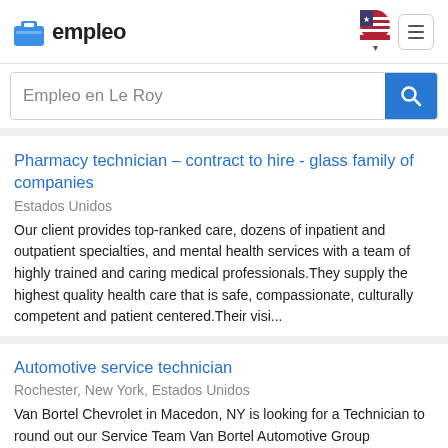empleo
Empleo en Le Roy
Pharmacy technician – contract to hire - glass family of companies
Estados Unidos
Our client provides top-ranked care, dozens of inpatient and outpatient specialties, and mental health services with a team of highly trained and caring medical professionals.They supply the highest quality health care that is safe, compassionate, culturally competent and patient centered.Their visi...
Automotive service technician
Rochester, New York, Estados Unidos
Van Bortel Chevrolet in Macedon, NY is looking for a Technician to round out our Service Team Van Bortel Automotive Group